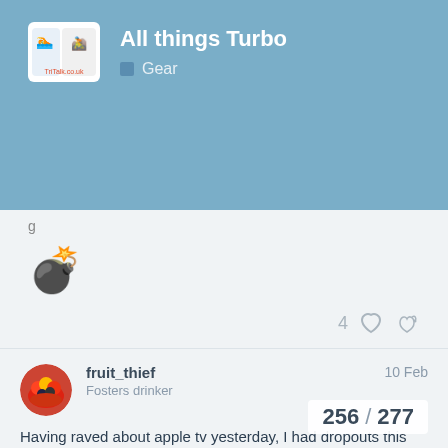All things Turbo — Gear
[Figure (other): Bomb emoji]
4 ♡ 🔗
fruit_thief — Fosters drinker — 10 Feb
Having raved about apple tv yesterday, I had dropouts this evening 😡

Jumped onto a random race straight after work, was all good until 5 minutes in ,the numbers went to zero and the avatar slowed to the stop of doom, never to return
256 / 277